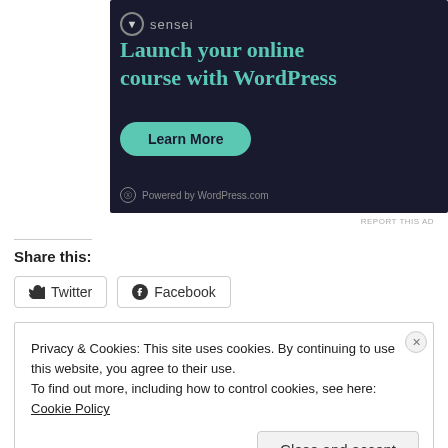[Figure (advertisement): Dark navy advertisement banner for Sensei with teal text reading 'Launch your online course with WordPress', a teal 'Learn More' button, and 'Powered by WordPress.com' footer]
REPORT THIS AD
Share this:
Twitter   Facebook
Privacy & Cookies: This site uses cookies. By continuing to use this website, you agree to their use.
To find out more, including how to control cookies, see here: Cookie Policy
Close and accept